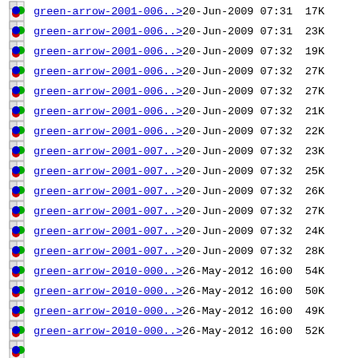green-arrow-2001-006..>  20-Jun-2009 07:31  17K
green-arrow-2001-006..>  20-Jun-2009 07:31  23K
green-arrow-2001-006..>  20-Jun-2009 07:32  19K
green-arrow-2001-006..>  20-Jun-2009 07:32  27K
green-arrow-2001-006..>  20-Jun-2009 07:32  27K
green-arrow-2001-006..>  20-Jun-2009 07:32  21K
green-arrow-2001-006..>  20-Jun-2009 07:32  22K
green-arrow-2001-007..>  20-Jun-2009 07:32  23K
green-arrow-2001-007..>  20-Jun-2009 07:32  25K
green-arrow-2001-007..>  20-Jun-2009 07:32  26K
green-arrow-2001-007..>  20-Jun-2009 07:32  27K
green-arrow-2001-007..>  20-Jun-2009 07:32  24K
green-arrow-2001-007..>  20-Jun-2009 07:32  28K
green-arrow-2010-000..>  26-May-2012 16:00  54K
green-arrow-2010-000..>  26-May-2012 16:00  50K
green-arrow-2010-000..>  26-May-2012 16:00  49K
green-arrow-2010-000..>  26-May-2012 16:00  52K